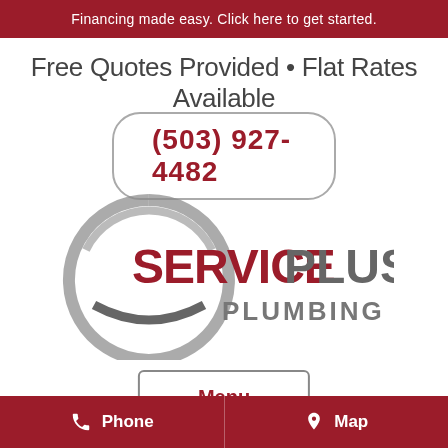Financing made easy. Click here to get started.
Free Quotes Provided • Flat Rates Available
(503) 927-4482
[Figure (logo): ServicePlus Plumbing logo with circular arc graphic and text SERVICE in red, PLUS in gray, PLUMBING in gray below]
Menu
Phone   Map